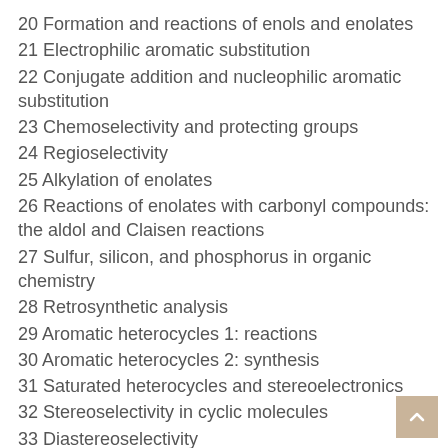20 Formation and reactions of enols and enolates
21 Electrophilic aromatic substitution
22 Conjugate addition and nucleophilic aromatic substitution
23 Chemoselectivity and protecting groups
24 Regioselectivity
25 Alkylation of enolates
26 Reactions of enolates with carbonyl compounds: the aldol and Claisen reactions
27 Sulfur, silicon, and phosphorus in organic chemistry
28 Retrosynthetic analysis
29 Aromatic heterocycles 1: reactions
30 Aromatic heterocycles 2: synthesis
31 Saturated heterocycles and stereoelectronics
32 Stereoselectivity in cyclic molecules
33 Diastereoselectivity
34 Pericyclic reactions 1: cycloadditions